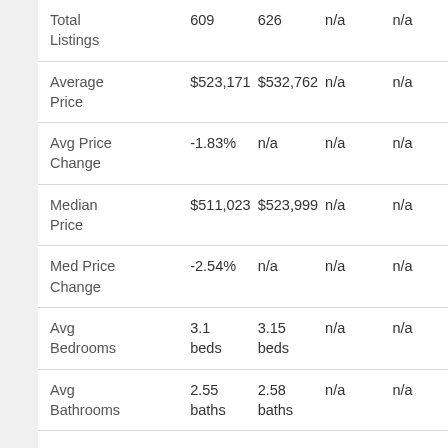| Total Listings | 609 | 626 | n/a | n/a |
| Average Price | $523,171 | $532,762 | n/a | n/a |
| Avg Price Change | -1.83% | n/a | n/a | n/a |
| Median Price | $511,023 | $523,999 | n/a | n/a |
| Med Price Change | -2.54% | n/a | n/a | n/a |
| Avg Bedrooms | 3.1 beds | 3.15 beds | n/a | n/a |
| Avg Bathrooms | 2.55 baths | 2.58 baths | n/a | n/a |